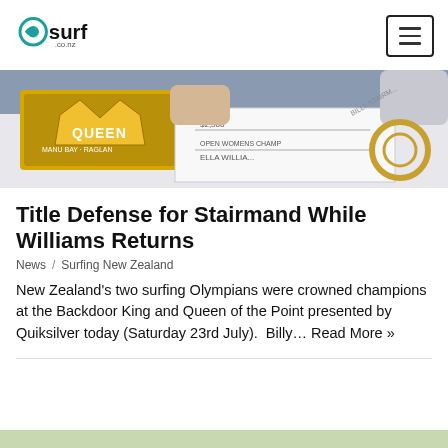surf.co.nz
[Figure (photo): Hero image showing a surfing event prize ceremony with a Queen of the Point banner and a cheque visible, people's hands and torsos visible in the background.]
Title Defense for Stairmand While Williams Returns
News / Surfing New Zealand
New Zealand's two surfing Olympians were crowned champions at the Backdoor King and Queen of the Point presented by Quiksilver today (Saturday 23rd July).  Billy… Read More »